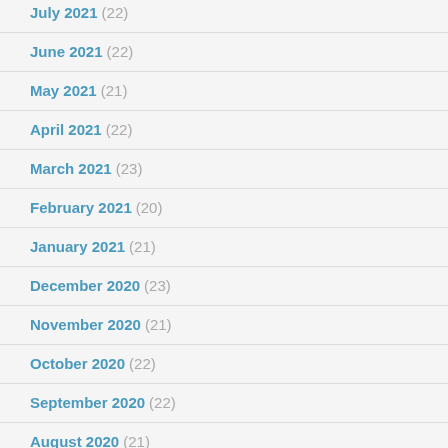July 2021 (22)
June 2021 (22)
May 2021 (21)
April 2021 (22)
March 2021 (23)
February 2021 (20)
January 2021 (21)
December 2020 (23)
November 2020 (21)
October 2020 (22)
September 2020 (22)
August 2020 (21)